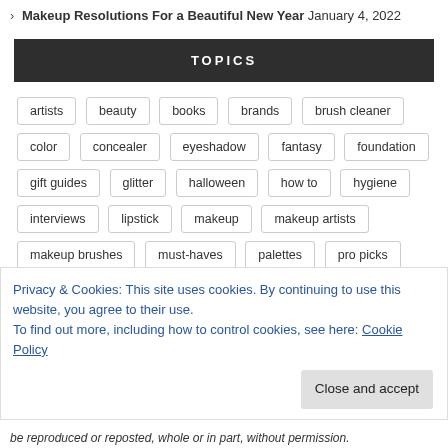> Makeup Resolutions For a Beautiful New Year  January 4, 2022
TOPICS
artists
beauty
books
brands
brush cleaner
color
concealer
eyeshadow
fantasy
foundation
gift guides
glitter
halloween
how to
hygiene
interviews
lipstick
makeup
makeup artists
makeup brushes
must-haves
palettes
pro picks
pro tips
Q&A
sanitizer
sfx
skincare
trends
Privacy & Cookies: This site uses cookies. By continuing to use this website, you agree to their use.
To find out more, including how to control cookies, see here: Cookie Policy
Close and accept
be reproduced or reposted, whole or in part, without permission.